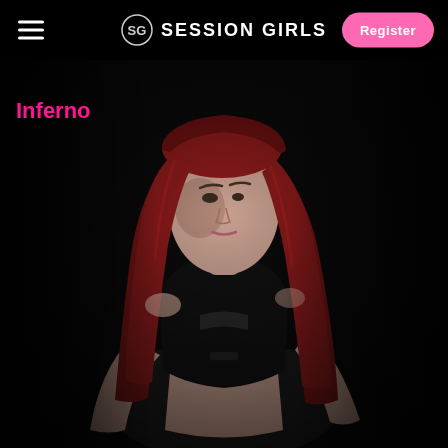SESSION GIRLS
Inferno
[Figure (photo): A woman with long red hair wearing a black sports bra/crop top, posing against a dark black background. She is leaning forward slightly with a serious expression.]